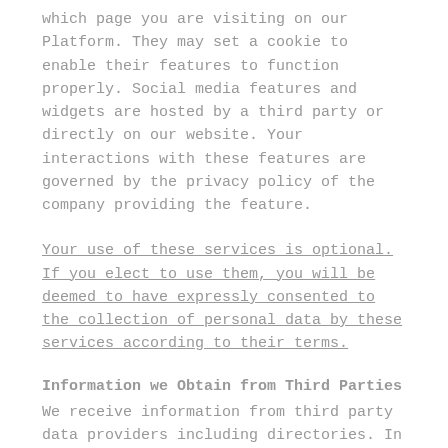which page you are visiting on our Platform. They may set a cookie to enable their features to function properly. Social media features and widgets are hosted by a third party or directly on our website. Your interactions with these features are governed by the privacy policy of the company providing the feature.
Your use of these services is optional. If you elect to use them, you will be deemed to have expressly consented to the collection of personal data by these services according to their terms.
Information we Obtain from Third Parties
We receive information from third party data providers including directories. In some cases, such as LinkedIn, the information has manifestly been made public by the individuals who posted their profile on LinkedIn, and we assume that the individuals no longer have a privacy interest in such